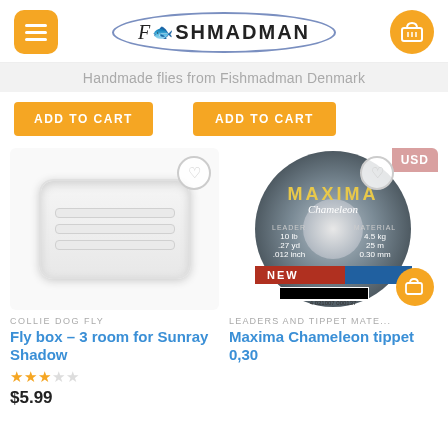[Figure (logo): FishMadMan website header with orange menu button, oval logo, and orange cart button]
Handmade flies from Fishmadman Denmark
ADD TO CART
ADD TO CART
[Figure (photo): White plastic fly box with 3 rooms for Sunray Shadow flies]
[Figure (photo): Maxima Chameleon tippet spool 0.30mm, 10lb, 25m leader material]
COLLIE DOG FLY
Fly box – 3 room for Sunray Shadow
LEADERS AND TIPPET MATE...
Maxima Chameleon tippet 0,30
$5.99